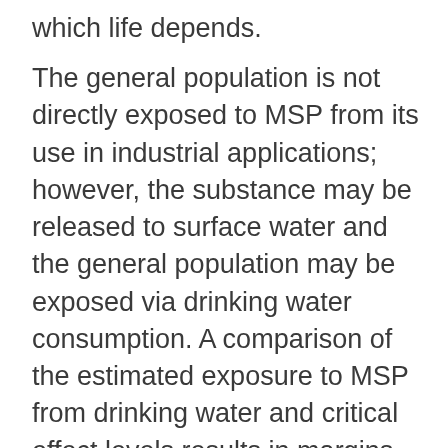which life depends.
The general population is not directly exposed to MSP from its use in industrial applications; however, the substance may be released to surface water and the general population may be exposed via drinking water consumption. A comparison of the estimated exposure to MSP from drinking water and critical effect levels results in margins of exposure that are considered adequate to address uncertainties in the health effects and exposure databases.